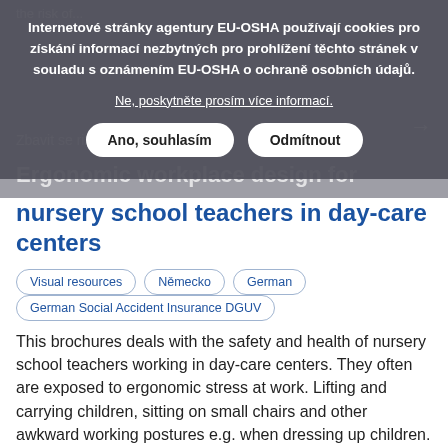Internetové stránky agentury EU-OSHA používají cookies pro získání informací nezbytných pro prohlížení těchto stránek v souladu s oznámením EU-OSHA o ochraně osobních údajů.
Ne, poskytněte prosím více informací.
Ano, souhlasím
Odmítnout
Ergonomic workplace design for nursery school teachers in day-care centers
Visual resources
Německo
German
German Social Accident Insurance DGUV
This brochures deals with the safety and health of nursery school teachers working in day-care centers. They often are exposed to ergonomic stress at work. Lifting and carrying children, sitting on small chairs and other awkward working postures e.g. when dressing up children. This information...